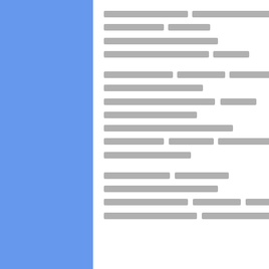[redacted text block 1 - Thai or obscured script paragraph 1]
[redacted text block 2 - Thai or obscured script paragraph 2]
[redacted text block 3 - Thai or obscured script paragraph 3]